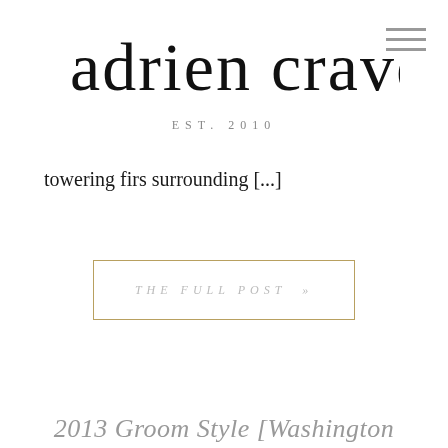[Figure (logo): Adrien Craven cursive signature logo in black ink]
EST. 2010
towering firs surrounding [...]
THE FULL POST »
2013 Groom Style [Washington